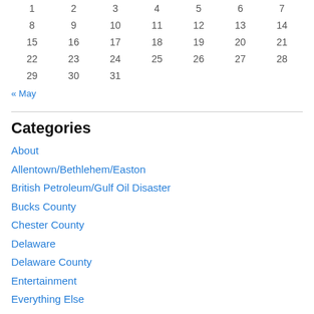| 1 | 2 | 3 | 4 | 5 | 6 | 7 |
| 8 | 9 | 10 | 11 | 12 | 13 | 14 |
| 15 | 16 | 17 | 18 | 19 | 20 | 21 |
| 22 | 23 | 24 | 25 | 26 | 27 | 28 |
| 29 | 30 | 31 |  |  |  |  |
« May
Categories
About
Allentown/Bethlehem/Easton
British Petroleum/Gulf Oil Disaster
Bucks County
Chester County
Delaware
Delaware County
Entertainment
Everything Else
Food